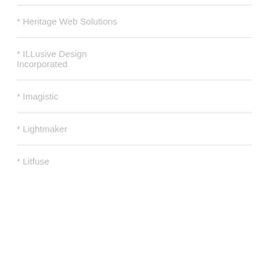* Heritage Web Solutions
* ILLusive Design Incorporated
* Imagistic
* Lightmaker
* Litfuse